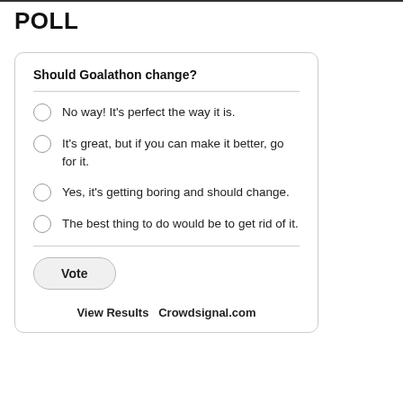POLL
Should Goalathon change?
No way! It's perfect the way it is.
It's great, but if you can make it better, go for it.
Yes, it's getting boring and should change.
The best thing to do would be to get rid of it.
Vote
View Results   Crowdsignal.com